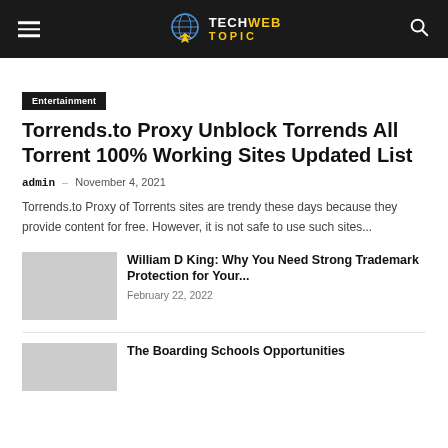TechWebTopic
Entertainment
Torrends.to Proxy Unblock Torrends All Torrent 100% Working Sites Updated List
admin – November 4, 2021
Torrends.to Proxy of Torrents sites are trendy these days because they provide content for free. However, it is not safe to use such sites...
William D King: Why You Need Strong Trademark Protection for Your...
February 22, 2022
The Boarding Schools Opportunities